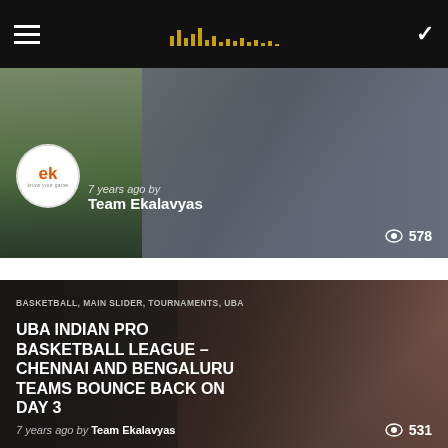Ekalavyas navigation bar
[Figure (photo): Basketball game photo card with ek logo, author Team Ekalavyas, 578 views]
[Figure (photo): Basketball game photo card for UBA Indian Pro Basketball League article, 531 views]
BASKETBALL, MAIN SLIDER, TOURNAMENTS, UBA
UBA INDIAN PRO BASKETBALL LEAGUE – CHENNAI AND BENGALURU TEAMS BOUNCE BACK ON DAY 3
7 years ago by Team Ekalavyas